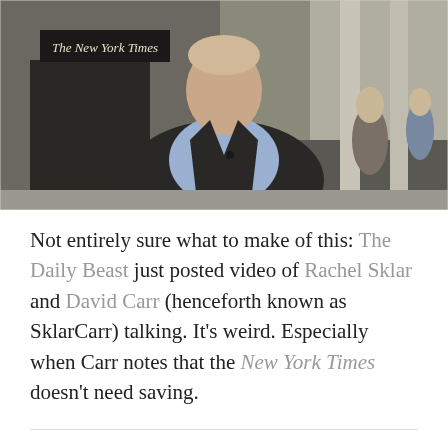[Figure (photo): A man in a dark blazer and light blue shirt standing on a sidewalk in front of The New York Times building. A microphone lapel clip is visible. Other pedestrians are visible in the background.]
Not entirely sure what to make of this: The Daily Beast just posted video of Rachel Sklar and David Carr (henceforth known as SklarCarr) talking. It's weird. Especially when Carr notes that the New York Times doesn't need saving.